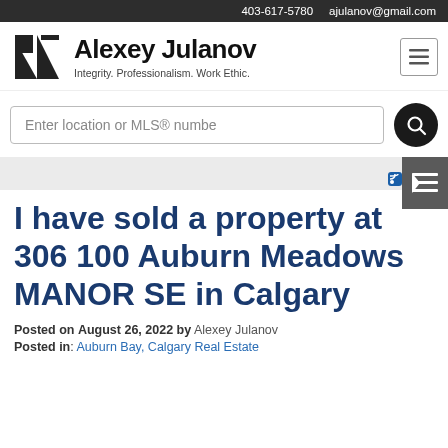403-617-5780   ajulanov@gmail.com
[Figure (logo): Alexey Julanov real estate logo with stylized AJ monogram]
Alexey Julanov
Integrity. Professionalism. Work Ethic.
Enter location or MLS® number
RSS
I have sold a property at 306 100 Auburn Meadows MANOR SE in Calgary
Posted on August 26, 2022 by Alexey Julanov
Posted in: Auburn Bay, Calgary Real Estate